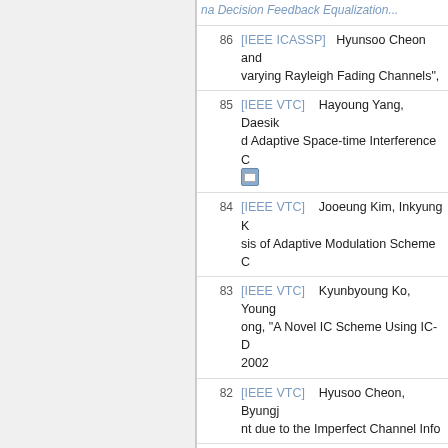86  [IEEE ICASSP]  Hyunsoo Cheon and ... varying Rayleigh Fading Channels",
85  [IEEE VTC]  Hayoung Yang, Daesik ... d Adaptive Space-time Interference C...
84  [IEEE VTC]  Jooeung Kim, Inkyung K... sis of Adaptive Modulation Scheme C...
83  [IEEE VTC]  Kyunbyoung Ko, Young... ong, "A Novel IC Scheme Using IC-D... 2002
82  [IEEE VTC]  Hyusoo Cheon, Byungj... nt due to the Imperfect Channel Info...
81  [IEEE INTERMAG]  Choongchae Wo... lizer for perpendicular magnetic reco...
80  [IEEE INTERMAG]  Hangyu Cho, Ch... and Simple Detection", IEEE INTERI...
79  [IEEE ICC]  Hayoung Yang, Daesik K... ime Diversity Receivers for Multiuser...
78  [IEEE GLOBECOM]  Byungjoon Park... d OFDM Synchronization Algorithm R...